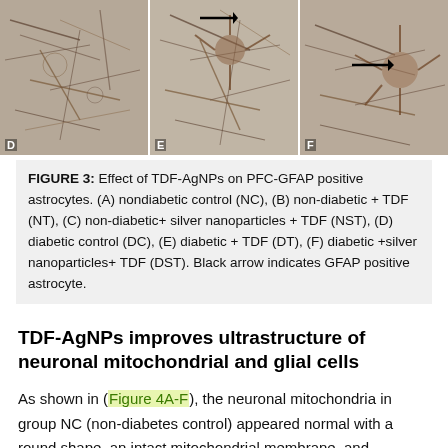[Figure (photo): Three microscopy panels (D, E, F) showing GFAP positive astrocytes in brain tissue sections. Panels D, E, and F show brown-stained astrocytes against a light background. Panels E and F each contain a black arrow indicating GFAP positive astrocyte.]
FIGURE 3: Effect of TDF-AgNPs on PFC-GFAP positive astrocytes. (A) nondiabetic control (NC), (B) non-diabetic + TDF (NT), (C) non-diabetic+ silver nanoparticles + TDF (NST), (D) diabetic control (DC), (E) diabetic + TDF (DT), (F) diabetic +silver nanoparticles+ TDF (DST). Black arrow indicates GFAP positive astrocyte.
TDF-AgNPs improves ultrastructure of neuronal mitochondrial and glial cells
As shown in (Figure 4A-F), the neuronal mitochondria in group NC (non-diabetes control) appeared normal with a round shape, an intact mitochondrial membrane, and numerous surrounding myelin sheaths (Figure 4A). The non-diabetic rat treated with TDF (group NT) showed an